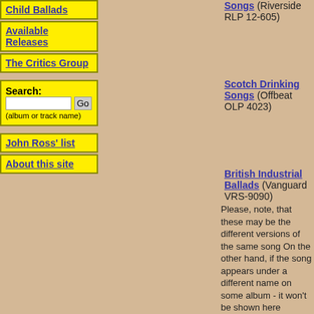Child Ballads
Available Releases
The Critics Group
Search: (album or track name)
John Ross' list
About this site
Songs (Riverside RLP 12-605)
Scotch Drinking Songs (Offbeat OLP 4023)
British Industrial Ballads (Vanguard VRS-9090)
Please, note, that these may be the different versions of the same song On the other hand, if the song appears under a different name on some album - it won't be shown here